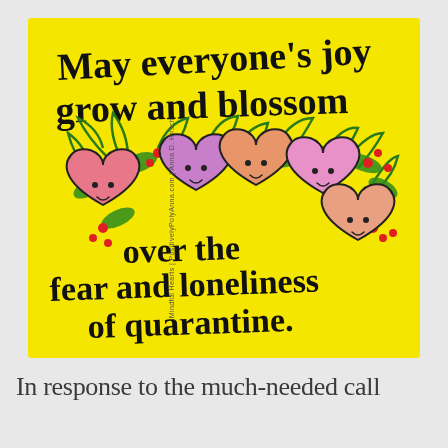[Figure (illustration): Yellow background illustration with hand-lettered text reading 'May everyone's joy grow and blossom over the fear and loneliness of quarantine.' featuring colorful cartoon hearts with smiling faces surrounded by green plants and red flowers. Side text reads 'Mindful Hearts | PositivelyPolyAnna.com | Anna D. Hirsch'. Hashtag '#QuarantineCompassion' written vertically on right side.]
In response to the much-needed call